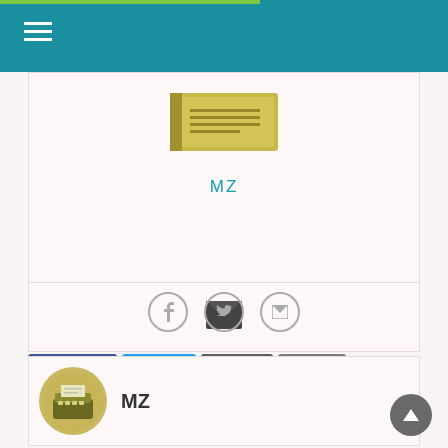Navigation header with teal background and hamburger menu
[Figure (illustration): Book/typewriter image centered in author card]
MZ
[Figure (illustration): Email envelope icon]
Facebook
Tweet
Email
Print
[Figure (illustration): Social sharing icons: Facebook, Twitter, Email circles]
[Figure (illustration): Circular author avatar with typewriter image]
MZ